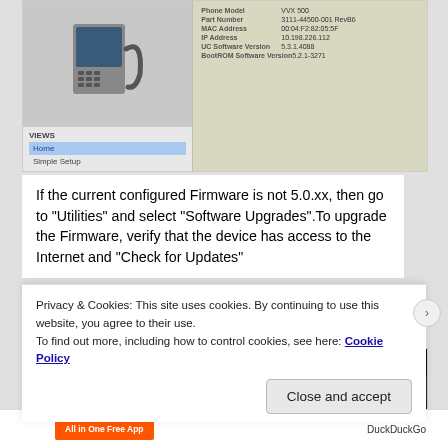[Figure (screenshot): Polycom VVX 500 phone device management web interface showing phone image on left with Views/Home/Simple Setup navigation, and device info panel on right with Phone Model: VVX 500, Part Number, MAC Address, IP Address, UC Software Version, BootROM Software Version]
If the current configured Firmware is not 5.0.xx, then go to "Utilities" and select "Software Upgrades".To upgrade the Firmware, verify that the device has access to the Internet and "Check for Updates"
[Figure (screenshot): Polycom VVX 500 web management interface showing dark header with Polycom logo and VVX 500 label, navigation menu with Home, Simple Status, Preferences, Settings, Diagnostics, Utilities, breadcrumb showing Software Upgrade path]
Privacy & Cookies: This site uses cookies. By continuing to use this website, you agree to their use.
To find out more, including how to control cookies, see here: Cookie Policy
Close and accept